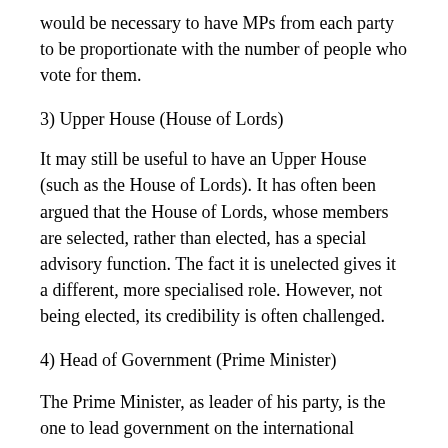would be necessary to have MPs from each party to be proportionate with the number of people who vote for them.
3) Upper House (House of Lords)
It may still be useful to have an Upper House (such as the House of Lords). It has often been argued that the House of Lords, whose members are selected, rather than elected, has a special advisory function. The fact it is unelected gives it a different, more specialised role. However, not being elected, its credibility is often challenged.
4) Head of Government (Prime Minister)
The Prime Minister, as leader of his party, is the one to lead government on the international